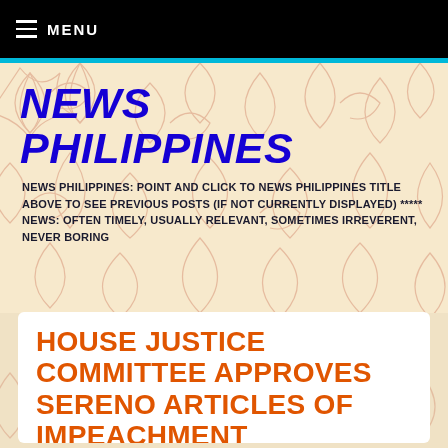≡ MENU
NEWS PHILIPPINES
NEWS PHILIPPINES: POINT AND CLICK TO NEWS PHILIPPINES TITLE ABOVE TO SEE PREVIOUS POSTS (IF NOT CURRENTLY DISPLAYED) ***** NEWS: OFTEN TIMELY, USUALLY RELEVANT, SOMETIMES IRREVERENT, NEVER BORING
HOUSE JUSTICE COMMITTEE APPROVES SERENO ARTICLES OF IMPEACHMENT